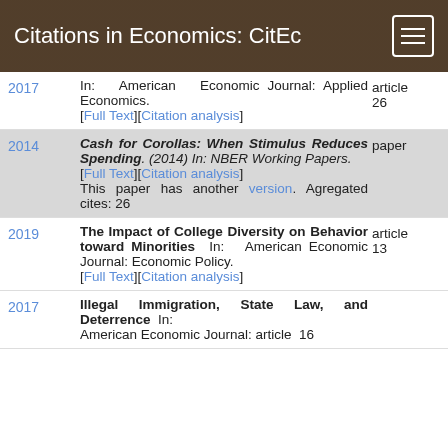Citations in Economics: CitEc
2017 | In: American Economic Journal: Applied Economics. [Full Text][Citation analysis] | article 26
2014 | Cash for Corollas: When Stimulus Reduces Spending. (2014) In: NBER Working Papers. [Full Text][Citation analysis] This paper has another version. Agregated cites: 26 | paper
2019 | The Impact of College Diversity on Behavior toward Minorities In: American Economic Journal: Economic Policy. [Full Text][Citation analysis] | article 13
2017 | Illegal Immigration, State Law, and Deterrence In: American Economic Journal: | article 16